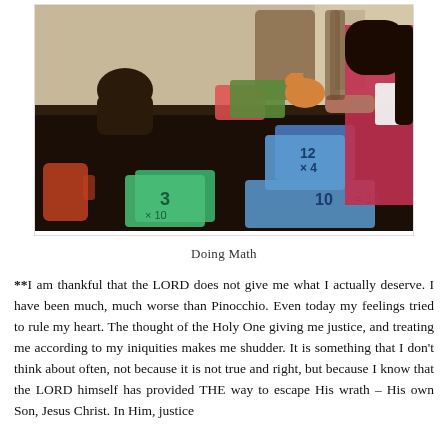[Figure (photo): Two children sitting at a dark dining table doing math flashcards. A girl in a red top is on the right side holding a flashcard, another child is seen from behind on the left. Math flashcards, a stuffed animal, and books are on the table.]
Doing Math
**I am thankful that the LORD does not give me what I actually deserve. I have been much, much worse than Pinocchio. Even today my feelings tried to rule my heart. The thought of the Holy One giving me justice, and treating me according to my iniquities makes me shudder. It is something that I don't think about often, not because it is not true and right, but because I know that the LORD himself has provided THE way to escape His wrath – His own Son, Jesus Christ. In Him, justice